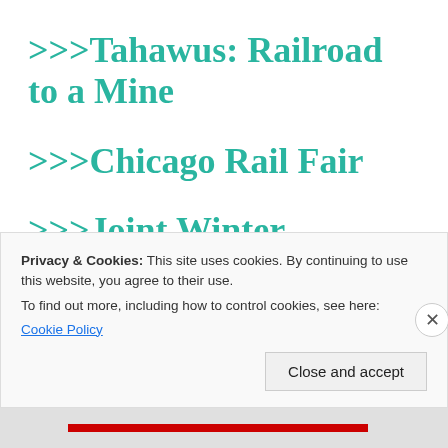>>>Tahawus: Railroad to a Mine
>>>Chicago Rail Fair
>>>Joint Winter Olympics for Montreal and Lake Placid
Privacy & Cookies: This site uses cookies. By continuing to use this website, you agree to their use.
To find out more, including how to control cookies, see here:
Cookie Policy
Close and accept